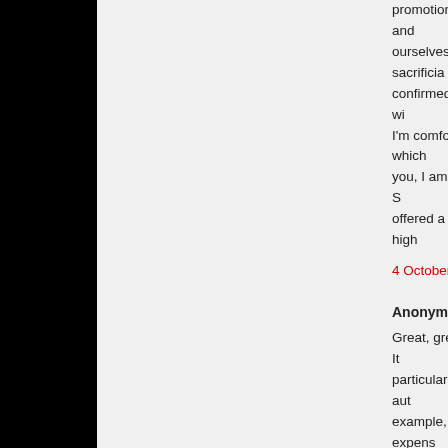promotion is important and ourselves on the sacrificia confirmed my decision, I wi I'm comfortable with, which you, I am NOT good at it. S offered a fee, which is high
4 October 2010 at 00:11
Anonymous said...
Great, great post, Nicola. It particularly on behalf of aut example, the bill for expens not paid for a gig which the profession where the perfo lunch is nice, but it's not the
What particularly hurts abo ticket, they're less inclined it means that at a ticketed e money goes to the organis word-of-mouth that only ha someone else who reads it
I have found that if you ask you have to be realistic abo